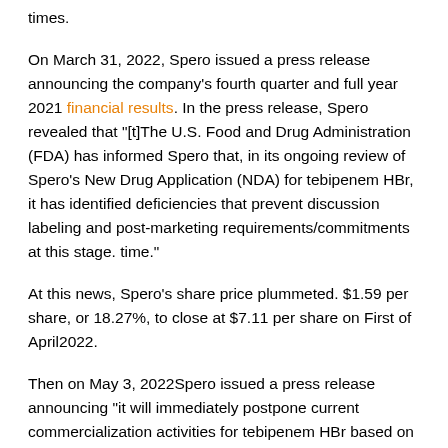times.
On March 31, 2022, Spero issued a press release announcing the company's fourth quarter and full year 2021 financial results. In the press release, Spero revealed that "[t]The U.S. Food and Drug Administration (FDA) has informed Spero that, in its ongoing review of Spero's New Drug Application (NDA) for tebipenem HBr, it has identified deficiencies that prevent discussion labeling and post-marketing requirements/commitments at this stage. time."
At this news, Spero's share price plummeted. $1.59 per share, or 18.27%, to close at $7.11 per share on First of April2022.
Then on May 3, 2022Spero issued a press release announcing "it will immediately postpone current commercialization activities for tebipenem HBr based on feedback from a recent end-of-cycle meeting with the U.S. Food and Drug Administration (FDA) regarding Spero's new drug application (NDA) for tebipenem